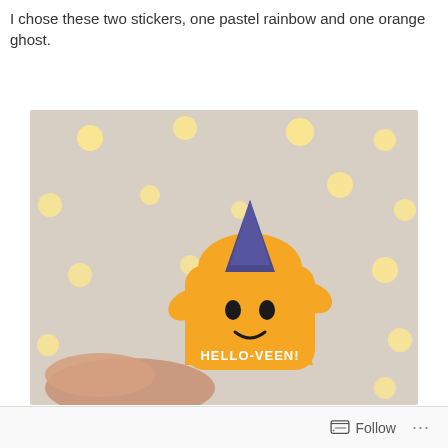I chose these two stickers, one pastel rainbow and one orange ghost.
[Figure (photo): Photo of an orange ghost sticker with a dark blue party hat and text 'HELLO-VEEN' written on it, held by fingers, against a bokeh background with warm white lights.]
Follow ...